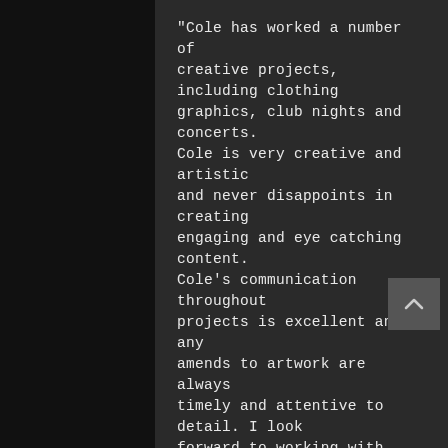"Cole has worked a number of creative projects, including clothing graphics, club nights and concerts. Cole is very creative and artistic and never disappoints in creating engaging and eye catching content. Cole's communication throughout projects is excellent and any amends to artwork are always timely and attentive to detail. I look forward to working with Cole on many projects in the future and would not hesitate to recommend him to anyone that asks!"
Matt,
CEO, DUSK Empire
"Cole has created various videos and graphics for our new website & social media. His ideas and market specific awareness is outstanding! He has turned our non-existent